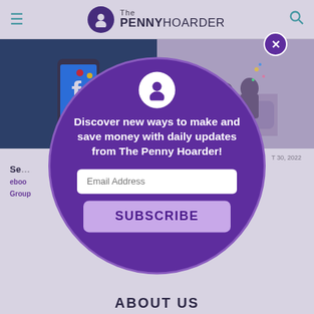The PENNY HOARDER
[Figure (screenshot): Two side-by-side article thumbnail images: left shows a hand holding a phone with Facebook app, right shows a couple on a couch watching something with confetti/money]
T 30, 2022
Se... 00 to Watch phen King s
n, CEPF®
[Figure (infographic): Circular popup modal overlay with purple background. Contains The Penny Hoarder logo (white silhouette on dark circle), close X button, headline text 'Discover new ways to make and save money with daily updates from The Penny Hoarder!', an email address input field, and a SUBSCRIBE button.]
ABOUT US